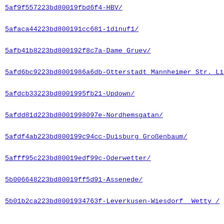5af9f557223bd80019fbd6f4-HBV/
5afaca44223bd800191cc681-1dinuf1/
5afb41b8223bd800192f8c7a-Dame_Gruev/
5afd6bc9223bd8001986a6db-Otterstadt_Mannheimer_Str._Linde
5afdcb33223bd8001995fb21-Updown/
5afdd81d223bd8001998097e-Nordhemsgatan/
5afdf4ab223bd800199c94cc-Duisburg_Großenbaum/
5afff95c223bd80019edf99c-Oderwetter/
5b006648223bd80019ff5d91-Assenede/
5b01b2ca223bd8001934763f-Leverkusen-Wiesdorf__Wetty_/